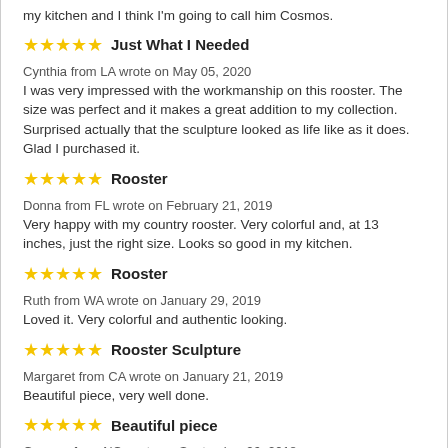my kitchen and I think I'm going to call him Cosmos.
Just What I Needed
Cynthia from LA wrote on May 05, 2020
I was very impressed with the workmanship on this rooster. The size was perfect and it makes a great addition to my collection. Surprised actually that the sculpture looked as life like as it does. Glad I purchased it.
Rooster
Donna from FL wrote on February 21, 2019
Very happy with my country rooster. Very colorful and, at 13 inches, just the right size. Looks so good in my kitchen.
Rooster
Ruth from WA wrote on January 29, 2019
Loved it. Very colorful and authentic looking.
Rooster Sculpture
Margaret from CA wrote on January 21, 2019
Beautiful piece, very well done.
Beautiful piece
Garmon from NC wrote on September 26, 2018
This is one of my latest Rooster additions to what's turning into my Touch-of-Class Rooster motif kitchen. For my intentions it's the